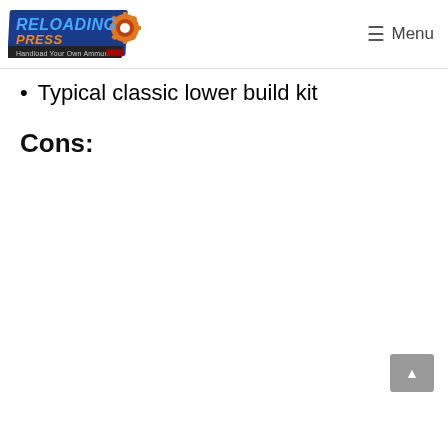ReloadingPress — Handload Your Own Ammunition | Menu
Typical classic lower build kit
Cons: